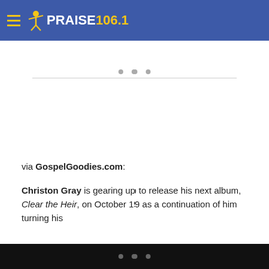PRAISE 106.1
[Figure (other): Three grey dots above a horizontal separator line, indicating a loading or media placeholder area]
via GospelGoodies.com:
Christon Gray is gearing up to release his next album, Clear the Heir, on October 19 as a continuation of him turning his li...